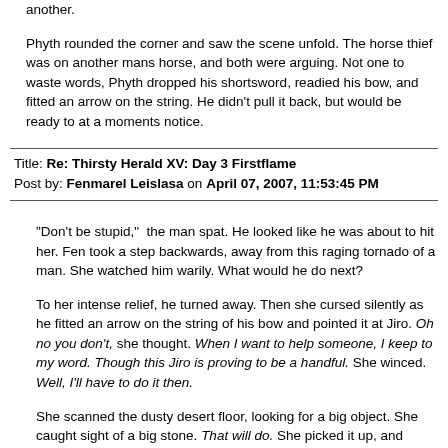another.
Phyth rounded the corner and saw the scene unfold. The horse thief was on another mans horse, and both were arguing. Not one to waste words, Phyth dropped his shortsword, readied his bow, and fitted an arrow on the string. He didn't pull it back, but would be ready to at a moments notice.
Title: Re: Thirsty Herald XV: Day 3 Firstflame
Post by: Fenmarel Leislasa on April 07, 2007, 11:53:45 PM
"Don't be stupid,"  the man spat. He looked like he was about to hit her. Fen took a step backwards, away from this raging tornado of a man. She watched him warily. What would he do next?
To her intense relief, he turned away. Then she cursed silently as he fitted an arrow on the string of his bow and pointed it at Jiro. Oh no you don't, she thought. When I want to help someone, I keep to my word. Though this Jiro is proving to be a handful. She winced. Well, I'll have to do it then.
She scanned the dusty desert floor, looking for a big object. She caught sight of a big stone. That will do. She picked it up, and quietly moved up behind the man with his bow and arrow. She struck his head hard with the stone, though not as hard as she could have. She watched as he sank to the